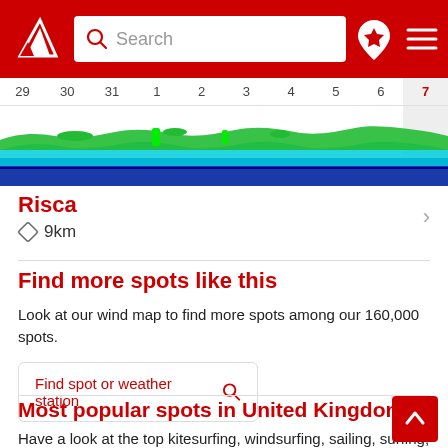[Figure (screenshot): Red navigation bar with Windfinder logo, search box with placeholder 'Search', location pin icon with star, and hamburger menu icon]
[Figure (continuous-plot): Wind forecast chart strip showing days 29, 30, 31, 1, 2, 3, 4, 5, 6, 7 with colored wave/wind bands in green, cyan, and blue]
Risca
9km
Find more spots like this
Look at our wind map to find more spots among our 160,000 spots.
Find spot or weather station
Most popular spots in United Kingdom
Have a look at the top kitesurfing, windsurfing, sailing, surfing, fishing spots in United Kingdom.